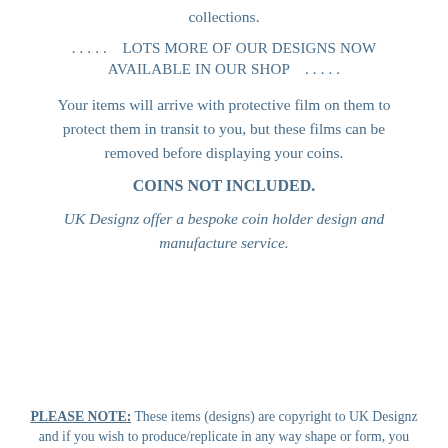collections.
. . . . .    LOTS MORE OF OUR DESIGNS NOW AVAILABLE IN OUR SHOP    . . . . .
Your items will arrive with protective film on them to protect them in transit to you, but these films can be removed before displaying your coins.
COINS NOT INCLUDED.
UK Designz offer a bespoke coin holder design and manufacture service.
PLEASE NOTE: These items (designs) are copyright to UK Designz and if you wish to produce/replicate in any way shape or form, you